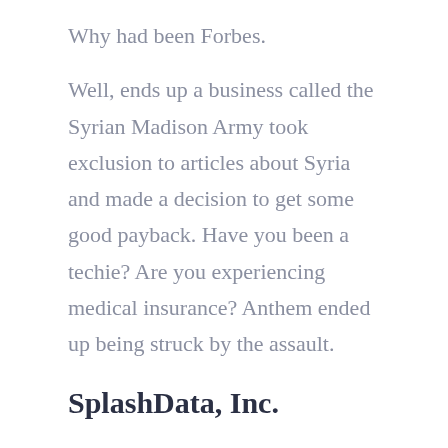Why had been Forbes.
Well, ends up a business called the Syrian Madison Army took exclusion to articles about Syria and made a decision to get some good payback. Have you been a techie? Are you experiencing medical insurance? Anthem ended up being struck by the assault.
SplashData, Inc.
You need to have one email for work, one for individuals and companies the recognize and trust, and also at minimum one target for